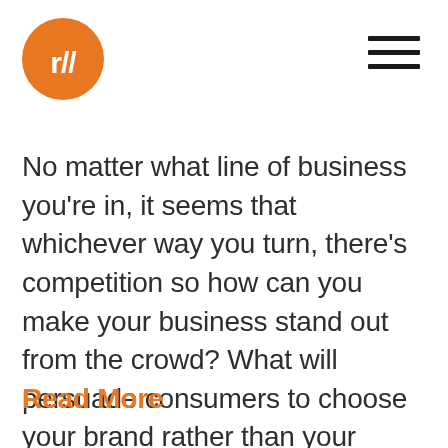[Figure (logo): Orange circle logo with white 'r//' text/symbol inside]
No matter what line of business you're in, it seems that whichever way you turn, there's competition so how can you make your business stand out from the crowd? What will persuade consumers to choose your brand rather than your competitors?
Read More